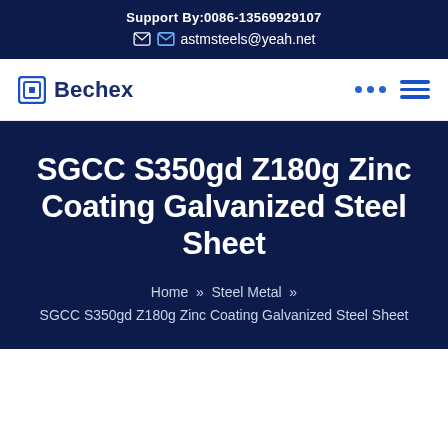Support By:0086-13569929107
astmsteels@yeah.net
[Figure (logo): Bechex company logo with square icon and bold text]
SGCC S350gd Z180g Zinc Coating Galvanized Steel Sheet
Home » Steel Metal » SGCC S350gd Z180g Zinc Coating Galvanized Steel Sheet